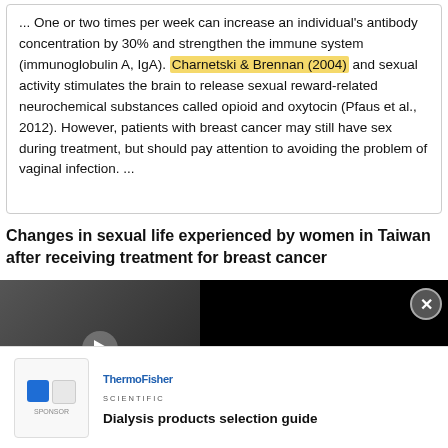... One or two times per week can increase an individual's antibody concentration by 30% and strengthen the immune system (immunoglobulin A, IgA). Charnetski & Brennan (2004) and sexual activity stimulates the brain to release sexual reward-related neurochemical substances called opioid and oxytocin (Pfaus et al., 2012). However, patients with breast cancer may still have sex during treatment, but should pay attention to avoiding the problem of vaginal infection. ...
Changes in sexual life experienced by women in Taiwan after receiving treatment for breast cancer
[Figure (screenshot): Advertisement overlay showing a video thumbnail for 'Learn how to best influence lab equipment purchasing behavior' with a play button, and ThermoFisher Scientific branding with 'Dialysis products selection guide']